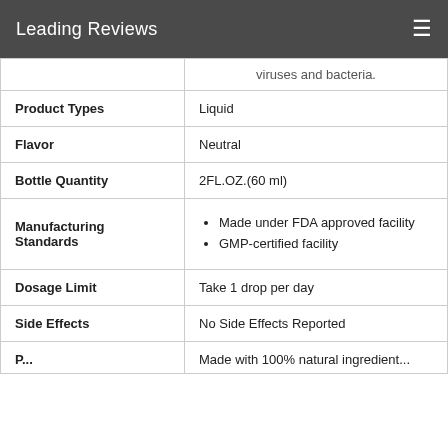Leading Reviews
| Attribute | Value |
| --- | --- |
|  | viruses and bacteria. |
| Product Types | Liquid |
| Flavor | Neutral |
| Bottle Quantity | 2FL.OZ.(60 ml) |
| Manufacturing Standards | • Made under FDA approved facility
• GMP-certified facility |
| Dosage Limit | Take 1 drop per day |
| Side Effects | No Side Effects Reported |
|  | Made with 100% natural ingredient... |